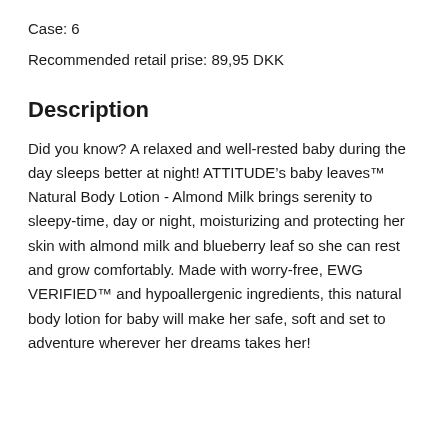Case: 6
Recommended retail prise: 89,95 DKK
Description
Did you know? A relaxed and well-rested baby during the day sleeps better at night! ATTITUDE’s baby leaves™ Natural Body Lotion - Almond Milk brings serenity to sleepy-time, day or night, moisturizing and protecting her skin with almond milk and blueberry leaf so she can rest and grow comfortably. Made with worry-free, EWG VERIFIED™ and hypoallergenic ingredients, this natural body lotion for baby will make her safe, soft and set to adventure wherever her dreams takes her!